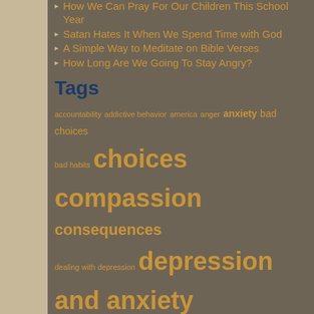How We Can Pray For Our Children This School Year
Satan Hates It When We Spend Time with God
A Simple Way to Meditate on Bible Verses
How Long Are We Going To Stay Angry?
Tags
accountability addictive behavior america anger anxiety bad choices bad habits choices compassion consequences dealing with depression depression and anxiety disappointment emotions faith faithfulness fear forgiveness forgiving God's love God's presence grace gratitude Jesus joy love love and mercy marriage meditate on God's word mercy poor choices prayer praying for america procrastination relationships respect shame sin sinful behavior sinful choices sinful habits